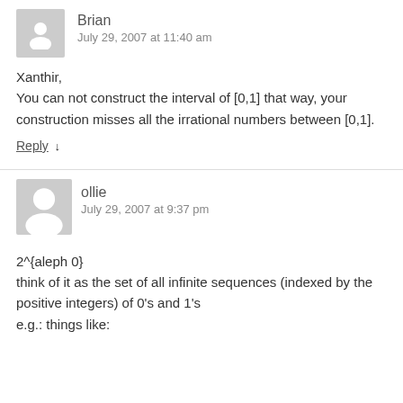[Figure (illustration): Generic user avatar placeholder (gray square with white person silhouette) for user Brian]
Brian
July 29, 2007 at 11:40 am
Xanthir,
You can not construct the interval of [0,1] that way, your construction misses all the irrational numbers between [0,1].
Reply ↓
[Figure (illustration): Generic user avatar placeholder (gray square with white person silhouette) for user ollie]
ollie
July 29, 2007 at 9:37 pm
2^{aleph 0}
think of it as the set of all infinite sequences (indexed by the positive integers) of 0's and 1's
e.g.: things like: